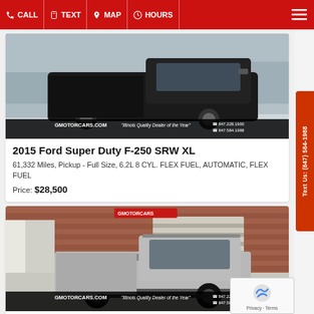CALL | TEXT | MAP | HOURS
[Figure (photo): 2015 Ford Super Duty F-250 SRW XL pickup truck, black, parked in a lot with gmotorcars.com dealer watermark]
2015 Ford Super Duty F-250 SRW XL
61,332 Miles, Pickup - Full Size, 6.2L 8 CYL. FLEX FUEL, AUTOMATIC, FLEX FUEL
Price: $28,500
[Figure (photo): 2010 HUMMER H3T Alpha silver pickup truck parked outside a brick building with gmotorcars.com dealer watermark]
2010 HUMMER H3T Alpha